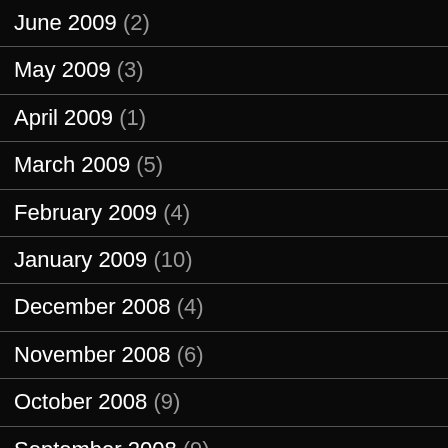June 2009 (2)
May 2009 (3)
April 2009 (1)
March 2009 (5)
February 2009 (4)
January 2009 (10)
December 2008 (4)
November 2008 (6)
October 2008 (9)
September 2008 (9)
August 2008 (15)
July 2008 (4)
June 2008 (7)